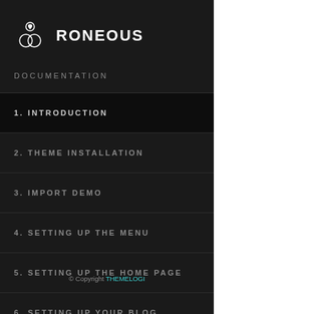[Figure (logo): Roneous logo with two interlocking rings/circles icon and text RONEOUS in bold white]
DOCUMENTATION
1. INTRODUCTION
2. THEME INSTALLATION
3. IMPORT DEMO
4. SETTING UP THE MENU
5. SETTING UP THE HOME PAGE
6. SETTING UP YOUR BLOG
© Copyright THEMELOGI
7. SETTING UP THE PAGE